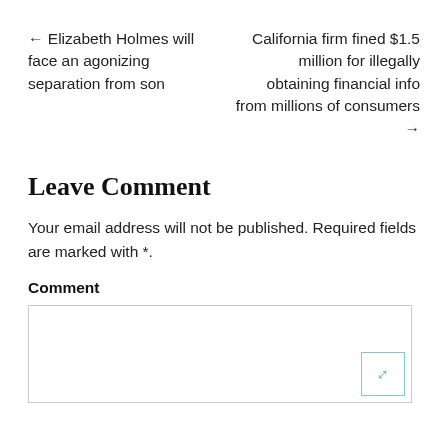← Elizabeth Holmes will face an agonizing separation from son
California firm fined $1.5 million for illegally obtaining financial info from millions of consumers →
Leave Comment
Your email address will not be published. Required fields are marked with *.
Comment